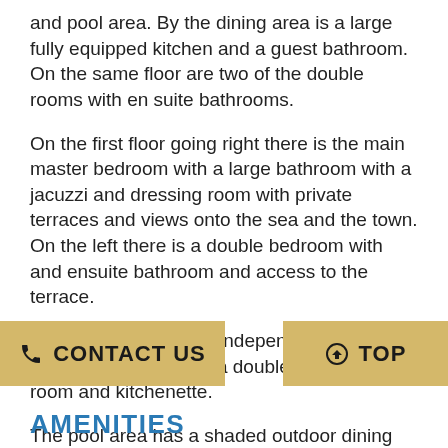and pool area. By the dining area is a large fully equipped kitchen and a guest bathroom.  On the same floor are two of the double rooms with en suite bathrooms.
On the first floor going right there is the main master bedroom with a large bathroom with a jacuzzi and dressing room with private terraces and views onto the sea and the town. On the left there is a double bedroom with and ensuite bathroom and access to the terrace.
A lower level holds an independent ensuite apartment annex with a double bed, living room and kitchenette.
The pool area has a shaded outdoor dining space, a bbq and outdoor kitchen,  a large pool and outdoor showers all with views onto the countryside with the town and the Mediterranean sea.
CONTACT US
TOP
AMENITIES